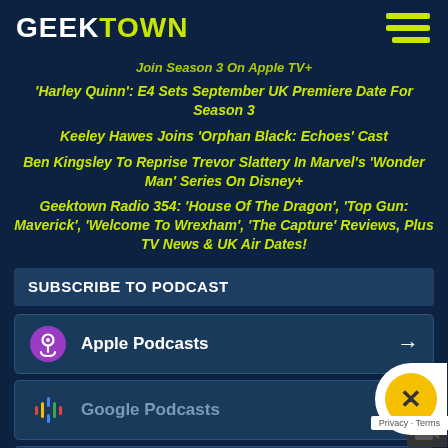GEEKTOWN
Join Season 3 On Apple TV+
'Harley Quinn': E4 Sets September UK Premiere Date For Season 3
Keeley Hawes Joins 'Orphan Black: Echoes' Cast
Ben Kingsley To Reprise Trevor Slattery In Marvel's 'Wonder Man' Series On Disney+
Geektown Radio 354: 'House Of The Dragon', 'Top Gun: Maverick', 'Welcome To Wrexham', 'The Capture' Reviews, Plus TV News & UK Air Dates!
SUBSCRIBE TO PODCAST
Apple Podcasts
Google Podcasts